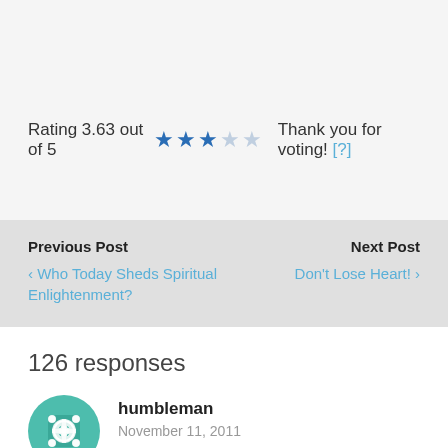Rating 3.63 out of 5 ★★★☆☆ Thank you for voting! [?]
Previous Post
‹ Who Today Sheds Spiritual Enlightenment?
Next Post
Don't Lose Heart! ›
126 responses
humbleman
November 11, 2011